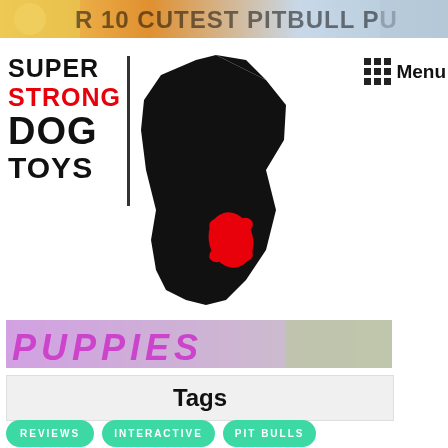[Figure (screenshot): Top image strip showing partial text of a blog post title about pitbull puppies, with colorful background]
[Figure (logo): Super Strong Dog Toys logo with black dog silhouette and red bone, text reads SUPER STRONG DOG TOYS]
Menu
[Figure (screenshot): Bottom portion of a colorful blog post image with stylized text 'PUPPIES' in pink/magenta]
Tags
REVIEWS
INTERACTIVE
PIT BULLS
TOYS